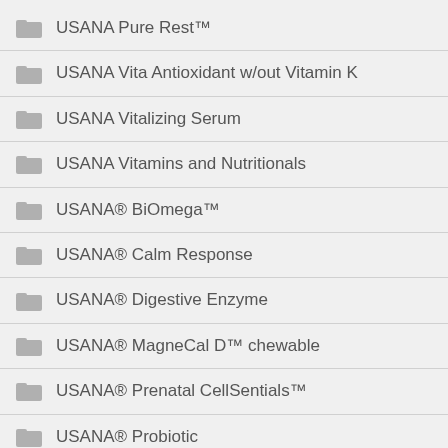USANA Pure Rest™
USANA Vita Antioxidant w/out Vitamin K
USANA Vitalizing Serum
USANA Vitamins and Nutritionals
USANA® BiOmega™
USANA® Calm Response
USANA® Digestive Enzyme
USANA® MagneCal D™ chewable
USANA® Prenatal CellSentials™
USANA® Probiotic